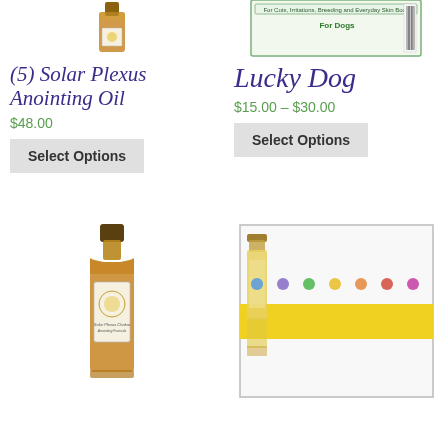[Figure (photo): Small amber bottle of Solar Plexus Anointing Oil, partially visible at top]
[Figure (photo): Lucky Dog product label for dogs, partially visible at top]
(5) Solar Plexus Anointing Oil
$48.00
Select Options
Lucky Dog
$15.00 – $30.00
Select Options
[Figure (photo): Tall amber glass bottle of anointing oil with decorative label and gold cap]
[Figure (photo): Row of small roller bottle oils with gold caps and decorative chakra labels on yellow background]